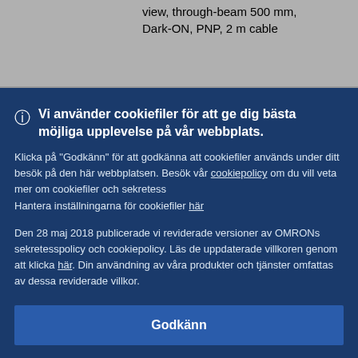view, through-beam 500 mm, Dark-ON, PNP, 2 m cable
Vi använder cookiefiler för att ge dig bästa möjliga upplevelse på vår webbplats.
Klicka på "Godkänn" för att godkänna att cookiefiler används under ditt besök på den här webbplatsen. Besök vår cookiepolicy om du vill veta mer om cookiefiler och sekretess Hantera inställningarna för cookiefiler här
Den 28 maj 2018 publicerade vi reviderade versioner av OMRONs sekretesspolicy och cookiepolicy. Läs de uppdaterade villkoren genom att klicka här. Din användning av våra produkter och tjänster omfattas av dessa reviderade villkor.
Godkänn